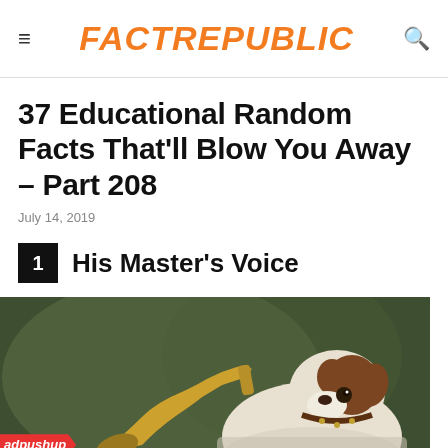FactRepublic
37 Educational Random Facts That'll Blow You Away – Part 208
July 14, 2019
1  His Master's Voice
[Figure (photo): Classic painting of a Jack Russell Terrier dog listening to a gramophone horn, known as 'His Master's Voice' image. Dog is white and brown, tilting head toward a brass horn against a dark olive-green background.]